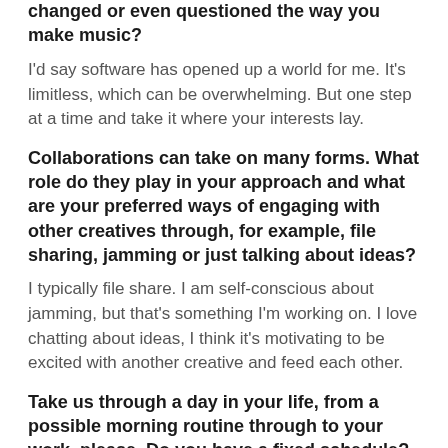instruments which have profoundly changed or even questioned the way you make music?
I'd say software has opened up a world for me. It's limitless, which can be overwhelming. But one step at a time and take it where your interests lay.
Collaborations can take on many forms. What role do they play in your approach and what are your preferred ways of engaging with other creatives through, for example, file sharing, jamming or just talking about ideas?
I typically file share. I am self-conscious about jamming, but that's something I'm working on. I love chatting about ideas, I think it's motivating to be excited with another creative and feed each other.
Take us through a day in your life, from a possible morning routine through to your work, please. Do you have a fixed schedule? How do music